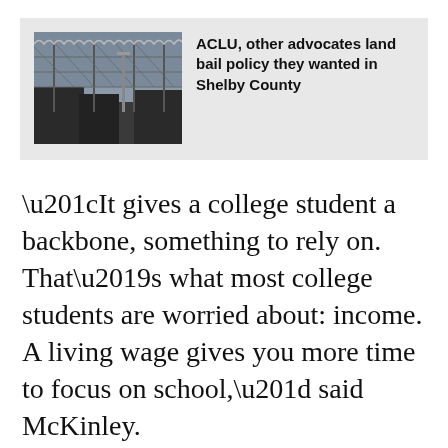[Figure (photo): Photo of a prison or detention facility with chain-link fence topped with razor wire, dark buildings in background, overcast sky]
ACLU, other advocates land bail policy they wanted in Shelby County
“It gives a college student a backbone, something to rely on. That’s what most college students are worried about: income. A living wage gives you more time to focus on school,” said McKinley.
In a classroom environment, lead mentors use programming skills to expose 250 students throughout Memphis, including communities like Binghampton and